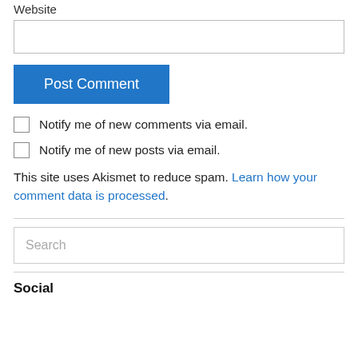Website
Post Comment
Notify me of new comments via email.
Notify me of new posts via email.
This site uses Akismet to reduce spam. Learn how your comment data is processed.
Search
Social